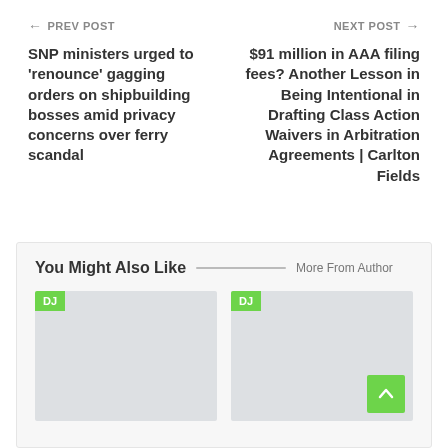← PREV POST    NEXT POST →
SNP ministers urged to 'renounce' gagging orders on shipbuilding bosses amid privacy concerns over ferry scandal
$91 million in AAA filing fees? Another Lesson in Being Intentional in Drafting Class Action Waivers in Arbitration Agreements | Carlton Fields
You Might Also Like
More From Author
[Figure (other): Thumbnail image placeholder with DJ badge]
[Figure (other): Thumbnail image placeholder with DJ badge]